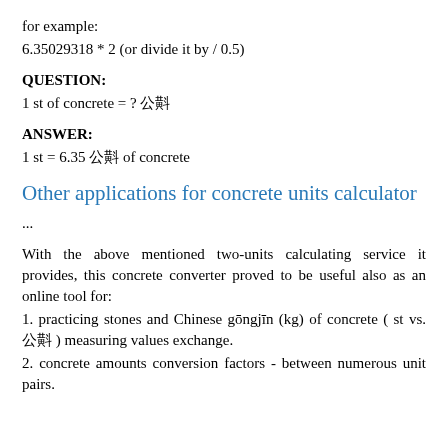for example:
6.35029318 * 2 (or divide it by / 0.5)
QUESTION:
1 st of concrete = ? 公斤
ANSWER:
1 st = 6.35 公斤 of concrete
Other applications for concrete units calculator
...
With the above mentioned two-units calculating service it provides, this concrete converter proved to be useful also as an online tool for:
1. practicing stones and Chinese gōngjīn (kg) of concrete ( st vs. 公斤 ) measuring values exchange.
2. concrete amounts conversion factors - between numerous unit pairs.